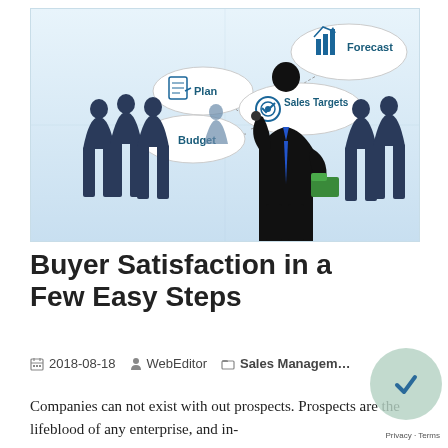[Figure (illustration): Business illustration on light blue background showing silhouettes of business people and a central figure pointing at floating bubbles labeled Forecast (bar chart icon), Plan (checklist icon), Sales Targets (target icon), and Budget (dollar sign icon). The central figure is dressed in a suit with a blue tie and holds a green folder.]
Buyer Satisfaction in a Few Easy Steps
2018-08-18   WebEditor   Sales Management
Companies can not exist with out prospects. Prospects are the lifeblood of any enterprise, and in-